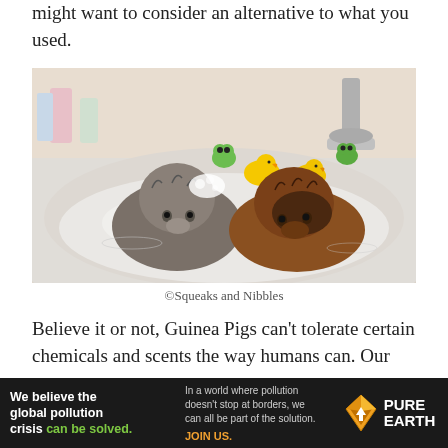might want to consider an alternative to what you used.
[Figure (photo): Two wet guinea pigs sitting in a bathroom sink filled with soapy water. Rubber duck toys and frog toys are visible in the background along with a faucet. The guinea pigs have wet, matted fur.]
©Squeaks and Nibbles
Believe it or not, Guinea Pigs can't tolerate certain chemicals and scents the way humans can. Our
[Figure (infographic): Advertisement banner for Pure Earth organization. Left: dark background with white bold text 'We believe the global pollution crisis can be solved.' with 'can be solved.' in green. Middle: text 'In a world where pollution doesn't stop at borders, we can all be part of the solution.' and 'JOIN US.' in orange. Right: Pure Earth logo (diamond-shaped icon with arrow) and 'PURE EARTH' in white bold text.]